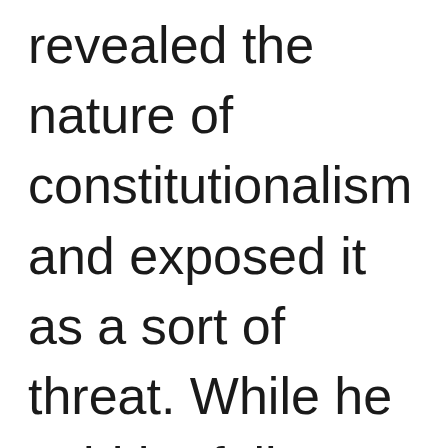revealed the nature of constitutionalism and exposed it as a sort of threat. While he said he fully believed in